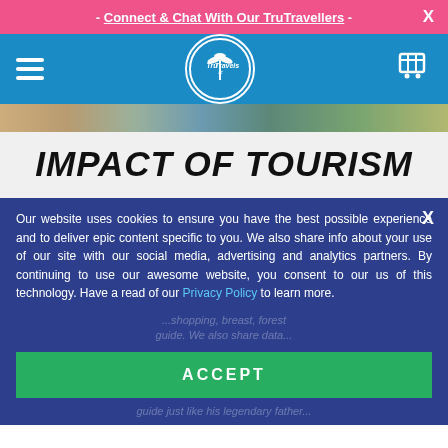- Connect & Chat With Our TruTravellers -
[Figure (logo): TruTravels circular logo with palm tree icon on blue navigation bar]
[Figure (photo): Colorful travel image strip showing people and scenic destinations]
IMPACT OF TOURISM
Our website uses cookies to ensure you have the best possible experience and to deliver epic content specific to you. We also share info about your use of our site with our social media, advertising and analytics partners. By continuing to use our awesome website, you consent to our us of this technology. Have a read of our Privacy Policy to learn more.
ACCEPT